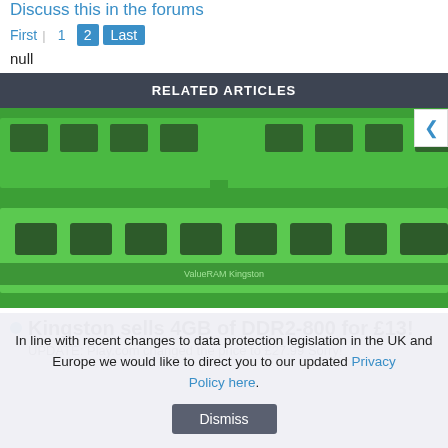Discuss this in the forums
First  1  2  Last
null
RELATED ARTICLES
[Figure (photo): Close-up photo of green DDR2 RAM memory sticks (Kingston ValueRAM), two sticks visible showing memory chips on PCB]
Kingston sells 4GB of DDR2-800 for £13!
UPDATE: Play.com changed the price to £27.99 Sorry!
In line with recent changes to data protection legislation in the UK and Europe we would like to direct you to our updated Privacy Policy here.
Dismiss